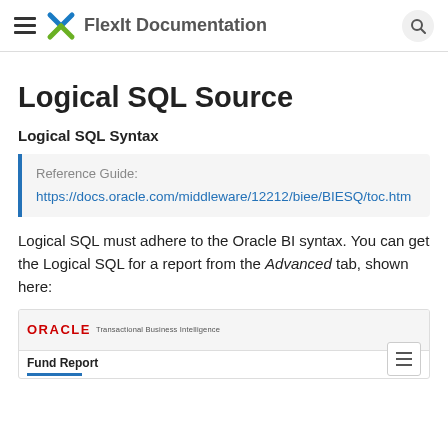FlexIt Documentation
Logical SQL Source
Logical SQL Syntax
Reference Guide:
https://docs.oracle.com/middleware/12212/biee/BIESQ/toc.htm
Logical SQL must adhere to the Oracle BI syntax. You can get the Logical SQL for a report from the Advanced tab, shown here:
[Figure (screenshot): Oracle Transactional Business Intelligence interface screenshot showing Fund Report header with a hamburger menu icon and a blue underline indicator.]